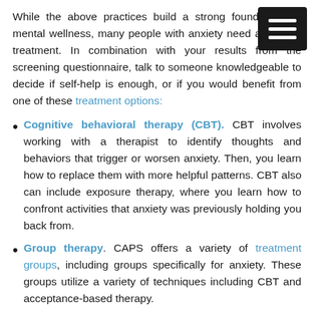While the above practices build a strong foundation for mental wellness, many people with anxiety need additional treatment. In combination with your results from the screening questionnaire, talk to someone knowledgeable to decide if self-help is enough, or if you would benefit from one of these treatment options:
Cognitive behavioral therapy (CBT). CBT involves working with a therapist to identify thoughts and behaviors that trigger or worsen anxiety. Then, you learn how to replace them with more helpful patterns. CBT also can include exposure therapy, where you learn how to confront activities that anxiety was previously holding you back from.
Group therapy. CAPS offers a variety of treatment groups, including groups specifically for anxiety. These groups utilize a variety of techniques including CBT and acceptance-based therapy.